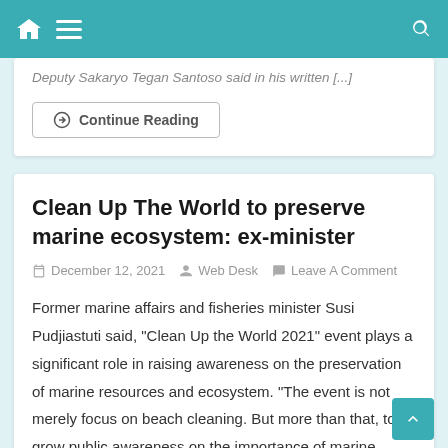Navigation header with home, menu, and search icons
Deputy Sakaryo Tegan Santoso said in his written [...]
Continue Reading
Clean Up The World to preserve marine ecosystem: ex-minister
December 12, 2021  Web Desk  Leave A Comment
Former marine affairs and fisheries minister Susi Pudjiastuti said, "Clean Up the World 2021" event plays a significant role in raising awareness on the preservation of marine resources and ecosystem. "The event is not merely focus on beach cleaning. But more than that, to grow public awareness on the importance of marine resources and ecosystem," [...]